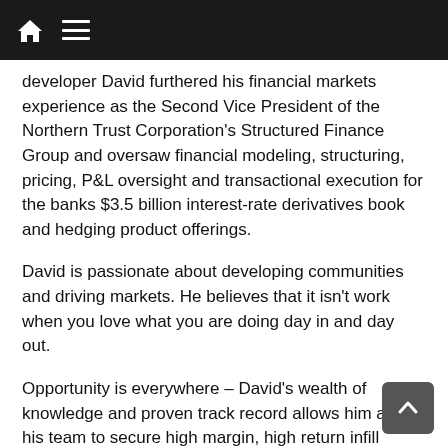developer David furthered his financial markets experience as the Second Vice President of the Northern Trust Corporation's Structured Finance Group and oversaw financial modeling, structuring, pricing, P&L oversight and transactional execution for the banks $3.5 billion interest-rate derivatives book and hedging product offerings.
David is passionate about developing communities and driving markets. He believes that it isn't work when you love what you are doing day in and day out.
Opportunity is everywhere – David's wealth of knowledge and proven track record allows him and his team to secure high margin, high return infill development opportunities for their core investors.
Five key points
To become an expert in your field, whether it's spo...